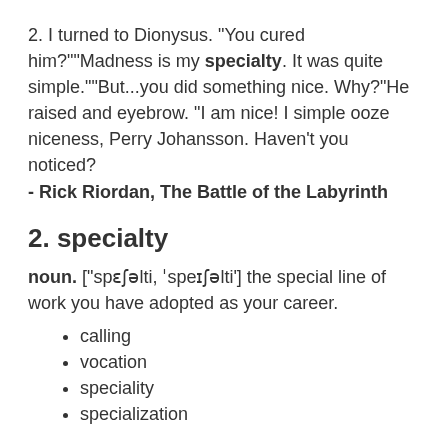2. I turned to Dionysus. "You cured him?""Madness is my specialty. It was quite simple.""But...you did something nice. Why?"He raised and eyebrow. "I am nice! I simple ooze niceness, Perry Johansson. Haven't you noticed? - Rick Riordan, The Battle of the Labyrinth
2. specialty
noun. ["spɛʃəlti, ˈspeɪʃəlti'] the special line of work you have adopted as your career.
calling
vocation
speciality
specialization